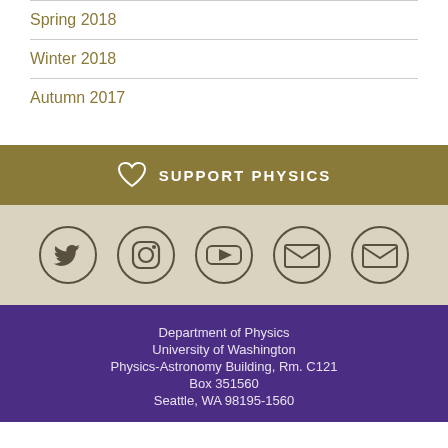Spring 2018
Winter 2018
Autumn 2017
SUPPORT PHYSICS
[Figure (infographic): Social media icons in circles: Twitter, Instagram, YouTube, Email, Email]
Department of Physics
University of Washington
Physics-Astronomy Building, Rm. C121
Box 351560
Seattle, WA 98195-1560